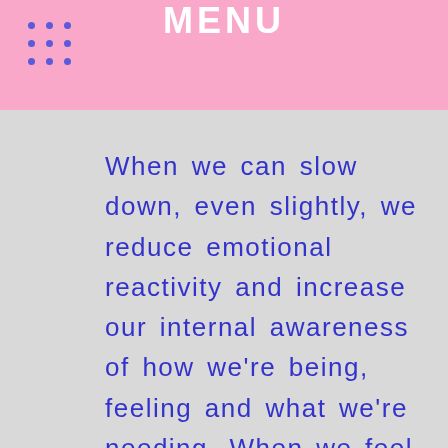MENU
When we can slow down, even slightly, we reduce emotional reactivity and increase our internal awareness of how we’re being, feeling and what we’re needing. When we feel more attuned to ourselves, we can attune more to others, and relate to them with more